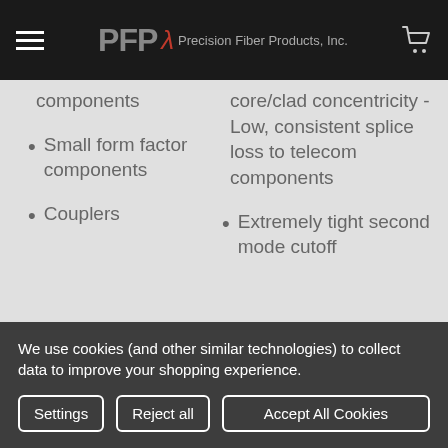PFP λ Precision Fiber Products, Inc.
components
Small form factor components
Couplers
core/clad concentricity - Low, consistent splice loss to telecom components
Extremely tight second mode cutoff
We use cookies (and other similar technologies) to collect data to improve your shopping experience.